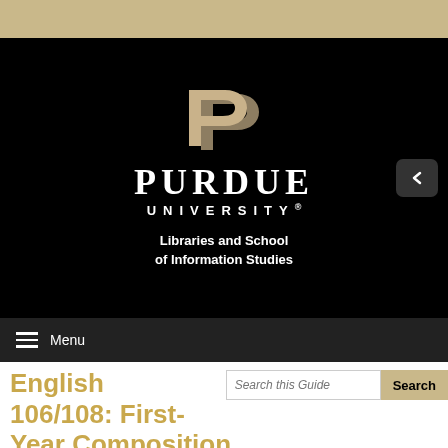[Figure (logo): Purdue University Libraries and School of Information Studies logo on black background with the stylized gold P above PURDUE UNIVERSITY text and subtitle]
Menu
English 106/108: First-Year Composition